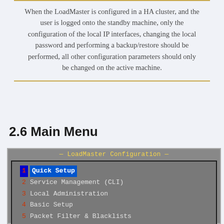When the LoadMaster is configured in a HA cluster, and the user is logged onto the standby machine, only the configuration of the local IP interfaces, changing the local password and performing a backup/restore should be performed, all other configuration parameters should only be changed on the active machine.
2.6 Main Menu
[Figure (screenshot): Terminal screenshot showing LoadMaster Configuration menu with options: 1 Quick Setup (highlighted), 2 Service Management (CLI), 3 Local Administration, 4 Basic Setup, 5 Packet Filter & Blacklists, 7 Utilities]